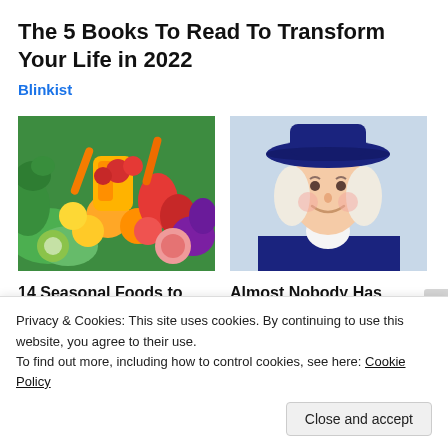The 5 Books To Read To Transform Your Life in 2022
Blinkist
[Figure (photo): Colorful assortment of fresh fruits and vegetables including greens, yellows, oranges, reds, and purples]
[Figure (photo): Illustrated Quaker Oats man mascot wearing dark colonial hat and coat with white cravat, smiling]
14 Seasonal Foods to Ease Eczema
Almost Nobody Has Passed This Classic
Privacy & Cookies: This site uses cookies. By continuing to use this website, you agree to their use.
To find out more, including how to control cookies, see here: Cookie Policy
Close and accept